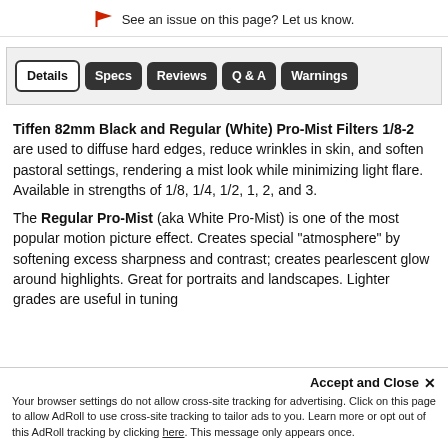🏴 See an issue on this page? Let us know.
[Figure (other): Navigation tab bar with tabs: Details (active, outlined), Specs, Reviews, Q & A, Warnings (dark background)]
Tiffen 82mm Black and Regular (White) Pro-Mist Filters 1/8-2 are used to diffuse hard edges, reduce wrinkles in skin, and soften pastoral settings, rendering a mist look while minimizing light flare. Available in strengths of 1/8, 1/4, 1/2, 1, 2, and 3.
The Regular Pro-Mist (aka White Pro-Mist) is one of the most popular motion picture effect. Creates special "atmosphere" by softening excess sharpness and contrast; creates pearlescent glow around highlights. Great for portraits and landscapes. Lighter grades are useful in tuning
Accept and Close ✕
Your browser settings do not allow cross-site tracking for advertising. Click on this page to allow AdRoll to use cross-site tracking to tailor ads to you. Learn more or opt out of this AdRoll tracking by clicking here. This message only appears once.